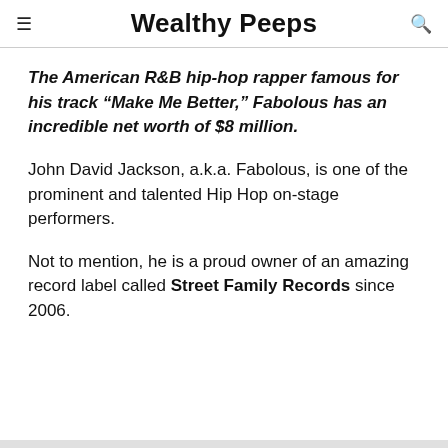Wealthy Peeps
The American R&B hip-hop rapper famous for his track “Make Me Better,” Fabolous has an incredible net worth of $8 million.
John David Jackson, a.k.a. Fabolous, is one of the prominent and talented Hip Hop on-stage performers.
Not to mention, he is a proud owner of an amazing record label called Street Family Records since 2006.